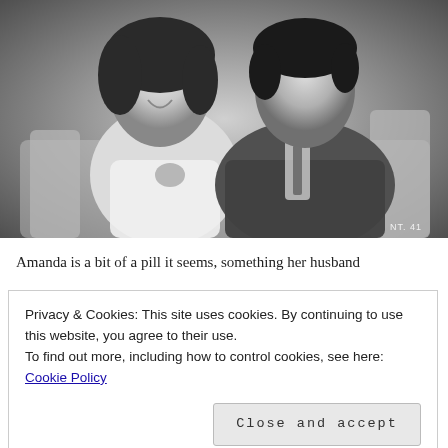[Figure (photo): Black and white vintage photo of a woman and a man sitting together on a couch. The woman on the left has dark curly hair and is smiling, wearing a light dress with a corsage. The man on the right has dark hair and wears a dark suit with a tie, looking toward her. A small label 'NT. 41' appears in the bottom right corner of the photo.]
Amanda is a bit of a pill it seems, something her husband
Privacy & Cookies: This site uses cookies. By continuing to use this website, you agree to their use.
To find out more, including how to control cookies, see here: Cookie Policy
Close and accept
is more fawning when it comes to her attentions. She